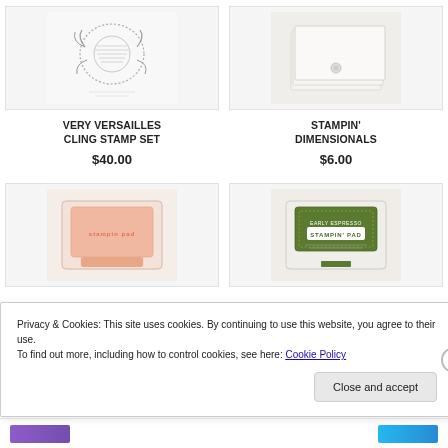[Figure (photo): Product image of Very Versailles Cling Stamp Set showing stamp designs with floral/wreath motif]
VERY VERSAILLES CLING STAMP SET
$40.00
[Figure (photo): Product image of Stampin' Dimensionals showing white foam adhesive squares/pads]
STAMPIN' DIMENSIONALS
$6.00
[Figure (photo): Product image of a peach/pink Stampin' Pad ink pad]
[Figure (photo): Product image of an olive/dark green Stampin' Pad ink pad]
Privacy & Cookies: This site uses cookies. By continuing to use this website, you agree to their use.
To find out more, including how to control cookies, see here: Cookie Policy
Close and accept